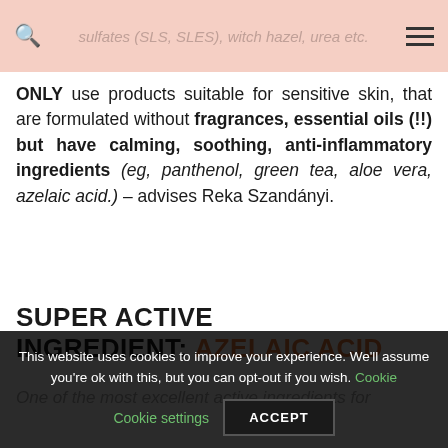sulfates (SLS, SLES), witch hazel, urea etc.
ONLY use products suitable for sensitive skin, that are formulated without fragrances, essential oils (!!) but have calming, soothing, anti-inflammatory ingredients (eg, panthenol, green tea, aloe vera, azelaic acid.) – advises Reka Szandányi.
SUPER ACTIVE INGREDIENT: AZELAIC ACID
One of the most excellent active ingredients for
This website uses cookies to improve your experience. We'll assume you're ok with this, but you can opt-out if you wish. Cookie settings ACCEPT